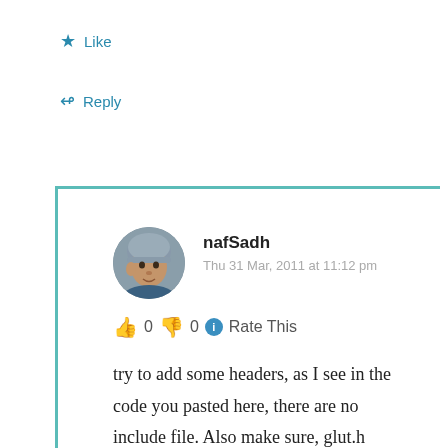★ Like
↪ Reply
[Figure (photo): Circular avatar photo of nafSadh, a young man wearing a grey beanie hat, looking to the side, outdoors]
nafSadh
Thu 31 Mar, 2011 at 11:12 pm
👍 0 👎 0 ℹ Rate This
try to add some headers, as I see in the code you pasted here, there are no include file. Also make sure, glut.h and other OpenGL headers and files are in place. Make sure that the